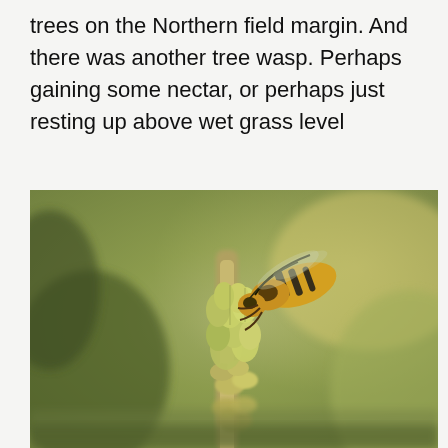trees on the Northern field margin. And there was another tree wasp. Perhaps gaining some nectar, or perhaps just resting up above wet grass level
[Figure (photo): Close-up macro photograph of a tree wasp (yellow and black) perched on top of a grass seed head with green buds, against a blurred olive-green bokeh background.]